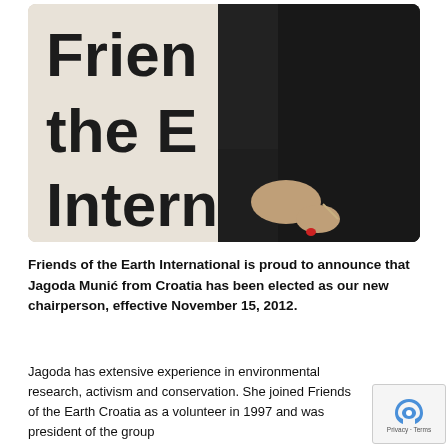[Figure (photo): A pregnant woman in a black dress standing in front of a Friends of the Earth International banner/sign. The sign shows large bold text reading 'Frien', 'the E', 'Intern' (partially visible). The woman is shown from neck to waist, hands clasped in front.]
Friends of the Earth International is proud to announce that Jagoda Munić from Croatia has been elected as our new chairperson, effective November 15, 2012.
Jagoda has extensive experience in environmental research, activism and conservation. She joined Friends of the Earth Croatia as a volunteer in 1997 and was president of the group from 2004 to 2007. She has also worked at the international...